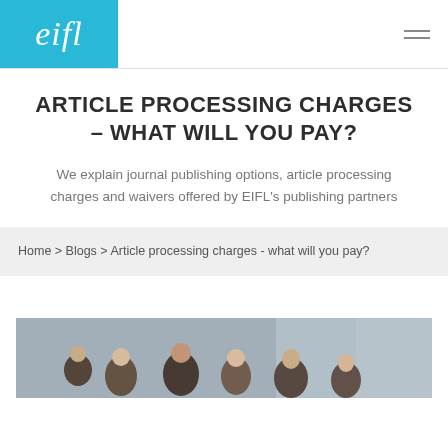eifl
ARTICLE PROCESSING CHARGES – WHAT WILL YOU PAY?
We explain journal publishing options, article processing charges and waivers offered by EIFL's publishing partners
Home > Blogs > Article processing charges - what will you pay?
[Figure (photo): Group of people gathered, visible from shoulders/head level, indoor setting with windows in background]